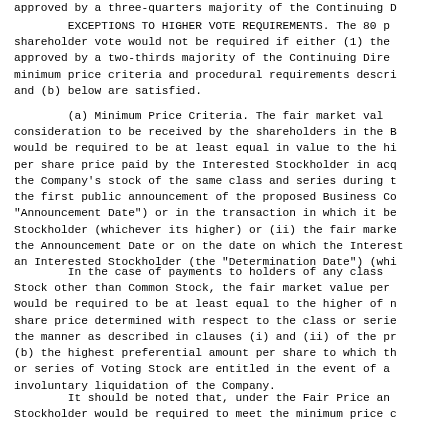approved by a three-quarters majority of the Continuing D
EXCEPTIONS TO HIGHER VOTE REQUIREMENTS. The 80 p shareholder vote would not be required if either (1) the approved by a two-thirds majority of the Continuing Dire minimum price criteria and procedural requirements descri and (b) below are satisfied.
(a) Minimum Price Criteria. The fair market val consideration to be received by the shareholders in the B would be required to be at least equal in value to the h per share price paid by the Interested Stockholder in ac the Company's stock of the same class and series during t the first public announcement of the proposed Business Co "Announcement Date") or in the transaction in which it be Stockholder (whichever its higher) or (ii) the fair marke the Announcement Date or on the date on which the Interes an Interested Stockholder (the "Determination Date") (wh
In the case of payments to holders of any class Stock other than Common Stock, the fair market value per would be required to be at least equal to the higher of share price determined with respect to the class or serie the manner as described in clauses (i) and (ii) of the p (b) the highest preferential amount per share to which th or series of Voting Stock are entitled in the event of a involuntary liquidation of the Company.
It should be noted that, under the Fair Price a Stockholder would be required to meet the minimum price c